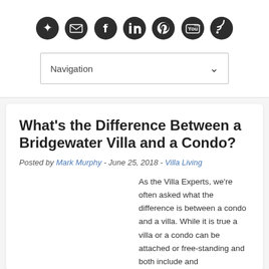[Figure (other): Row of 7 circular social media icon buttons (share, email, facebook, linkedin, pinterest, youtube, rss)]
[Figure (other): Navigation dropdown menu element]
What’s the Difference Between a Bridgewater Villa and a Condo?
Posted by Mark Murphy - June 25, 2018 - Villa Living
As the Villa Experts, we’re often asked what the difference is between a condo and a villa. While it is true a villa or a condo can be attached or free-standing and both include and